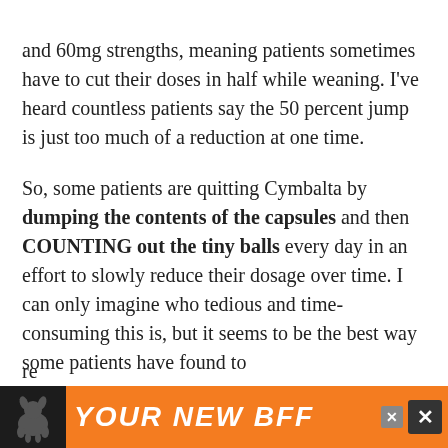and 60mg strengths, meaning patients sometimes have to cut their doses in half while weaning. I've heard countless patients say the 50 percent jump is just too much of a reduction at one time.
So, some patients are quitting Cymbalta by dumping the contents of the capsules and then COUNTING out the tiny balls every day in an effort to slowly reduce their dosage over time. I can only imagine who tedious and time-consuming this is, but it seems to be the best way some patients have found to re...
[Figure (infographic): Orange advertisement banner at the bottom of the page with a dog silhouette on the left and text 'YOUR NEW BFF' in large white italic bold font, with close/X buttons on the right.]